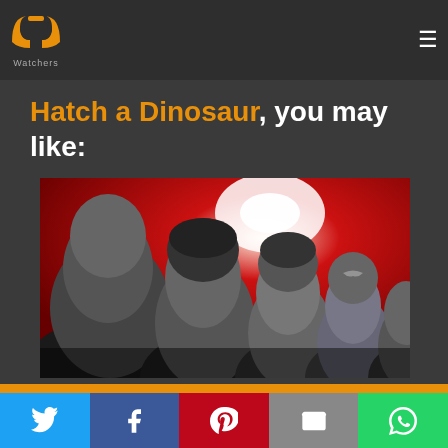PP Watchers
Hatch a Dinosaur, you may like:
[Figure (photo): Movie promotional image showing several men's faces in profile against a red background]
1 user is watching this movie right now!
Twitter | Facebook | Pinterest | Email | WhatsApp